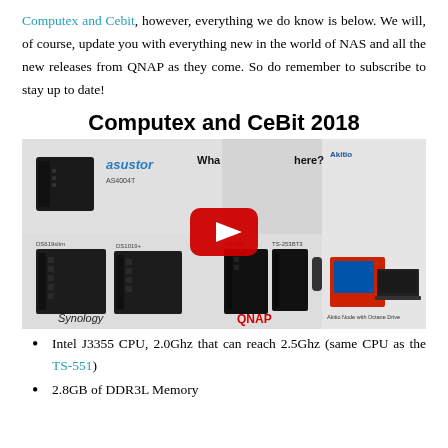Computex and Cebit, however, everything we do know is below. We will, of course, update you with everything new in the world of NAS and all the new releases from QNAP as they come. So do remember to subscribe to stay up to date!
[Figure (screenshot): Video thumbnail for 'Computex and CeBit 2018' showing NAS products from Asustor (AS4004T), Synology (DS619slim, DS1019+), QNAP (TS-551, TS-253BT3), and Akitio Node with Octane Drive, with a YouTube play button overlay.]
Intel J3355 CPU, 2.0Ghz that can reach 2.5Ghz (same CPU as the TS-551)
2.8GB of DDR3L Memory